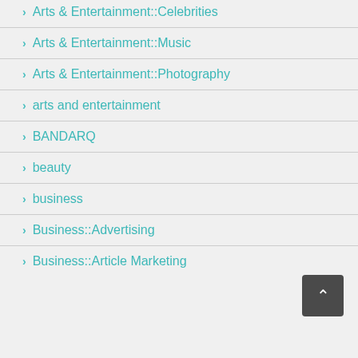Arts & Entertainment::Celebrities
Arts & Entertainment::Music
Arts & Entertainment::Photography
arts and entertainment
BANDARQ
beauty
business
Business::Advertising
Business::Article Marketing